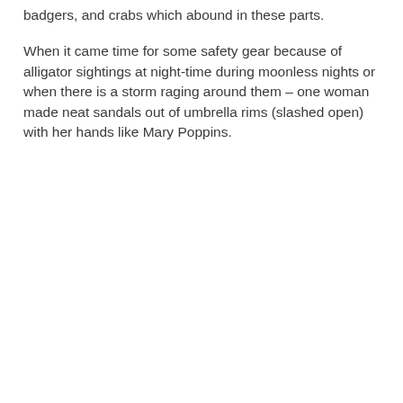badgers, and crabs which abound in these parts.
When it came time for some safety gear because of alligator sightings at night-time during moonless nights or when there is a storm raging around them – one woman made neat sandals out of umbrella rims (slashed open) with her hands like Mary Poppins.